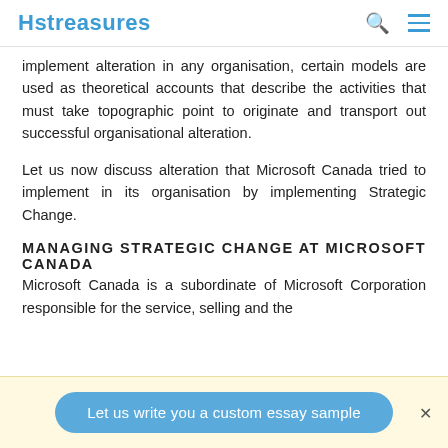Hstreasures
implement alteration in any organisation, certain models are used as theoretical accounts that describe the activities that must take topographic point to originate and transport out successful organisational alteration.
Let us now discuss alteration that Microsoft Canada tried to implement in its organisation by implementing Strategic Change.
MANAGING STRATEGIC CHANGE AT MICROSOFT CANADA
Microsoft Canada is a subordinate of Microsoft Corporation responsible for the service, selling and the
Let us write you a custom essay sample